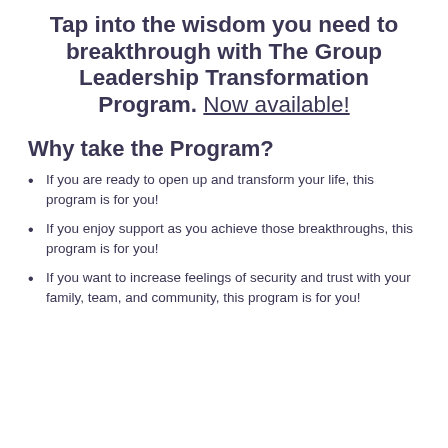Tap into the wisdom you need to breakthrough with The Group Leadership Transformation Program. Now available!
Why take the Program?
If you are ready to open up and transform your life, this program is for you!
If you enjoy support as you achieve those breakthroughs, this program is for you!
If you want to increase feelings of security and trust with your family, team, and community, this program is for you!